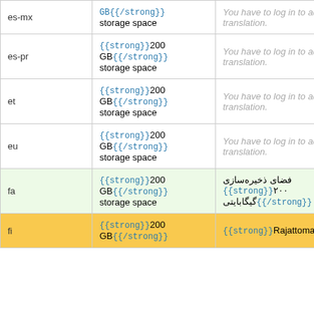| Language | Source | Translation | Action |
| --- | --- | --- | --- |
| es-mx | GB{{/strong}} storage space | You have to log in to add a translation. | Details |
| es-pr | {{strong}}200 GB{{/strong}} storage space | You have to log in to add a translation. | Details |
| et | {{strong}}200 GB{{/strong}} storage space | You have to log in to add a translation. | Details |
| eu | {{strong}}200 GB{{/strong}} storage space | You have to log in to add a translation. | Details |
| fa | {{strong}}200 GB{{/strong}} storage space | فضای ذخیره‌سازی {{strong}}۲۰۰ گیگابایتی{{/strong}} | Details |
| fi | {{strong}}200 GB{{/strong}} | {{strong}}Rajattomasti{{/strong | Details |